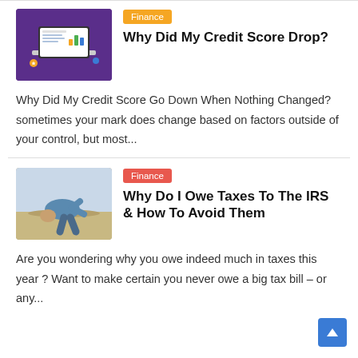[Figure (illustration): Isometric illustration of a laptop with financial/credit score graphics on a purple background]
[Figure (photo): Orange 'Finance' category tag badge]
Why Did My Credit Score Drop?
Why Did My Credit Score Go Down When Nothing Changed? sometimes your mark does change based on factors outside of your control, but most...
[Figure (photo): Person burying their head in sand at the beach]
[Figure (illustration): Red 'Finance' category tag badge]
Why Do I Owe Taxes To The IRS & How To Avoid Them
Are you wondering why you owe indeed much in taxes this year ? Want to make certain you never owe a big tax bill – or any...